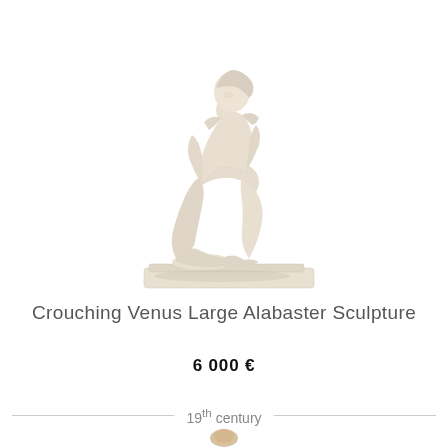[Figure (photo): A white alabaster sculpture of a crouching Venus figure, seated on a rectangular base, viewed from a three-quarter angle. The figure is nude, bending forward with arms resting on knees.]
Crouching Venus Large Alabaster Sculpture
6 000 €
19th century